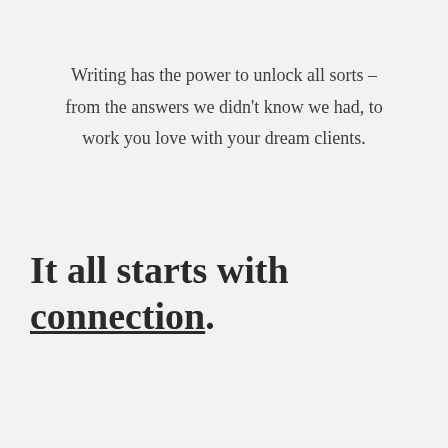Writing has the power to unlock all sorts – from the answers we didn't know we had, to work you love with your dream clients.
It all starts with connection.